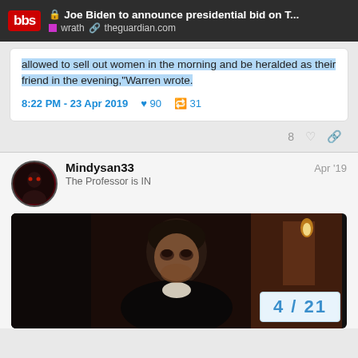Joe Biden to announce presidential bid on T... | wrath | theguardian.com
allowed to sell out women in the morning and be heralded as their friend in the evening," Warren wrote.
8:22 PM - 23 Apr 2019 ♥ 90 🔁 31
8  ♡  🔗
Mindysan33  Apr '19
The Professor is IN
[Figure (photo): Dark portrait photo of a young man in period costume with candles in background]
4 / 21